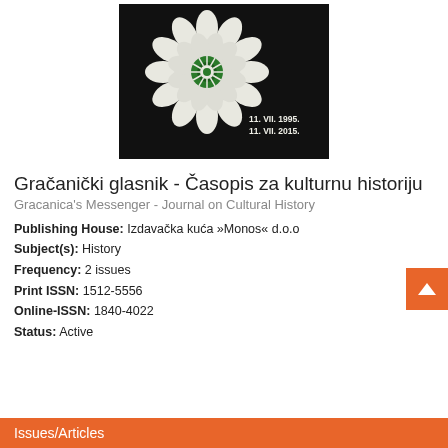[Figure (photo): Journal cover image showing a white crocheted flower with a green center on a dark/black background, with text '11. VII. 1995. / 11. VII. 2015.' in the lower right area of the cover.]
Gračanički glasnik - Časopis za kulturnu historiju
Gracanica's Messenger - Journal on Cultural History
Publishing House: Izdavačka kuća »Monos« d.o.o
Subject(s): History
Frequency: 2 issues
Print ISSN: 1512-5556
Online-ISSN: 1840-4022
Status: Active
Issues/Articles